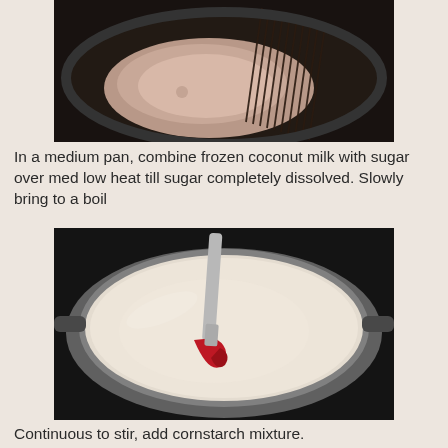[Figure (photo): Top-down view of a dark pan with flour/powder mixture and a whisk being used to mix it.]
In a medium pan, combine frozen coconut milk with sugar over med low heat till sugar completely dissolved. Slowly bring to a boil
[Figure (photo): Silver pot with white/cream liquid being stirred with a red silicone spatula.]
Continuous to stir, add cornstarch mixture.
[Figure (photo): Silver pot with white liquid being poured from a measuring cup, with a dark spoon visible.]